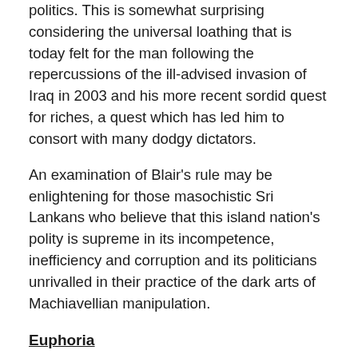politics. This is somewhat surprising considering the universal loathing that is today felt for the man following the repercussions of the ill-advised invasion of Iraq in 2003 and his more recent sordid quest for riches, a quest which has led him to consort with many dodgy dictators.
An examination of Blair's rule may be enlightening for those masochistic Sri Lankans who believe that this island nation's polity is supreme in its incompetence, inefficiency and corruption and its politicians unrivalled in their practice of the dark arts of Machiavellian manipulation.
Euphoria
I for one have not forgotten the euphoria which greeted Blair's election. On the bright morning of 2 May 1997, I wandered down to the Imperial War Museum. A complete stranger, a very tall man conducting a poll for MORI